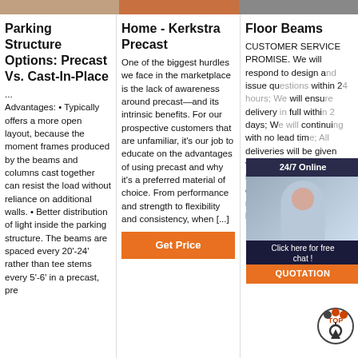[Figure (photo): Top banner images - three partial photo strips across the top]
Parking Structure Options: Precast Vs. Cast-In-Place
... Advantages: • Typically offers a more open layout, because the moment frames produced by the beams and columns cast together can resist the load without reliance on additional walls. • Better distribution of light inside the parking structure. The beams are spaced every 20'-24' rather than tee stems every 5'-6' in a precast, pre
Home - Kerkstra Precast
One of the biggest hurdles we face in the marketplace is the lack of awareness around precast—and its intrinsic benefits. For our prospective customers that are unfamiliar, it's our job to educate on the advantages of using precast and why it's a preferred material of choice. From performance and strength to flexibility and consistency, when [...]
[Figure (other): Get Price orange button]
Floor Beams
CUSTOMER SERVICE PROMISE. We will respond to design and issue questions within 24 hours; We will ensure delivery in full within 2 days; We will continue with no lead time; All deliveries will be given verbal confirmation 48 hours before the delivery date; We will hold a full range of standard floor beams in stock at all times
[Figure (screenshot): 24/7 Online chat widget overlay with woman customer service photo, Click here for free chat text, and QUOTATION button]